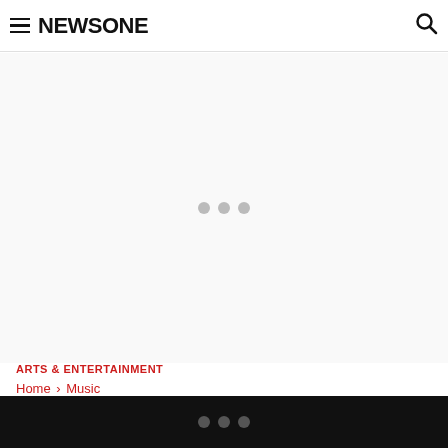NEWSONE
[Figure (other): Advertisement loading area with three grey dots indicating content loading]
ARTS & ENTERTAINMENT
Home › Music
Remembering Nate Dogg